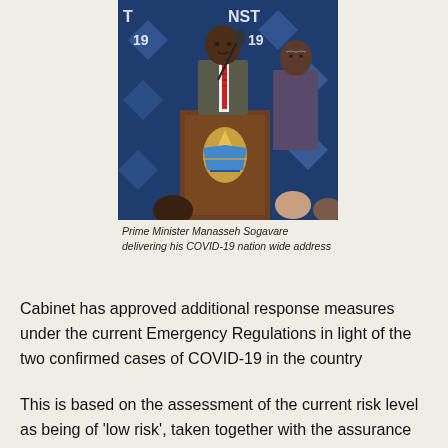[Figure (photo): Prime Minister Manasseh Sogavare standing at a wooden podium with the Solomon Islands coat of arms, delivering a speech in front of a blue backdrop with 'AGAINST COVID-19' text. A person stands to his right.]
Prime Minister Manasseh Sogavare delivering his COVID-19 nation wide address
Cabinet has approved additional response measures under the current Emergency Regulations in light of the two confirmed cases of COVID-19 in the country
This is based on the assessment of the current risk level as being of 'low risk', taken together with the assurance